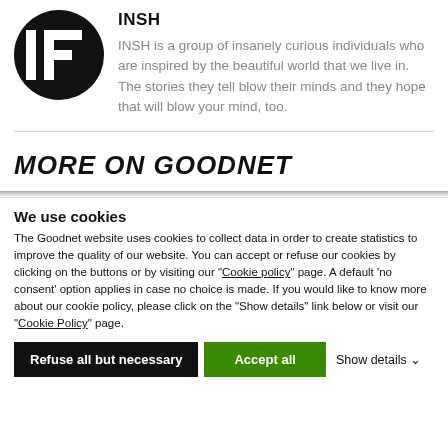[Figure (logo): INSH logo: white I and F shapes on a black circle background]
INSH
INSH is a group of insanely curious individuals who are inspired by the beautiful world that we live in. The stories they tell blow their minds and they hope that will blow your mind, too.
MORE ON GOODNET
We use cookies
The Goodnet website uses cookies to collect data in order to create statistics to improve the quality of our website. You can accept or refuse our cookies by clicking on the buttons or by visiting our "Cookie policy" page. A default 'no consent' option applies in case no choice is made. If you would like to know more about our cookie policy, please click on the "Show details" link below or visit our "Cookie Policy" page.
Refuse all but necessary | Accept all | Show details